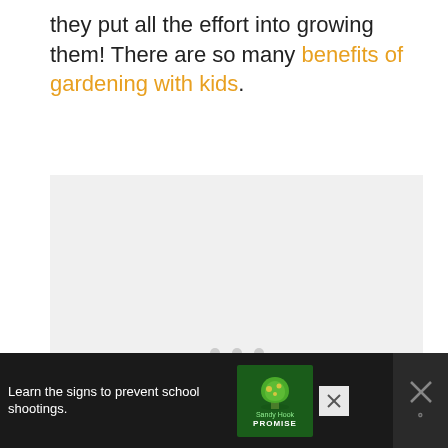they put all the effort into growing them! There are so many benefits of gardening with kids.
[Figure (photo): Large image placeholder area with light gray background and three gray dots centered, indicating a loading or carousel image slot]
[Figure (screenshot): Advertisement banner at bottom of page: dark background with text 'Learn the signs to prevent school shootings.' Sandy Hook Promise logo (green tree), and close buttons on the right side]